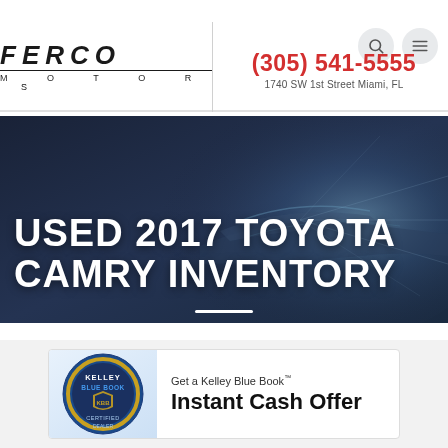FERCO MOTORS — (305) 541-5555 — 1740 SW 1st Street Miami, FL
USED 2017 TOYOTA CAMRY INVENTORY
[Figure (screenshot): Kelley Blue Book badge with text: Get a Kelley Blue Book Instant Cash Offer]